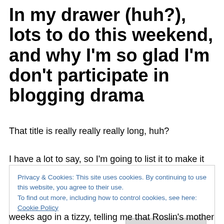In my drawer (huh?), lots to do this weekend, and why I'm so glad I'm don't participate in blogging drama
That title is really really really long, huh?
I have a lot to say, so I'm going to list it to make it easier on me poor addled sleep-deprived brain.  And it ain't going to be in the order of the title either.
Privacy & Cookies: This site uses cookies. By continuing to use this website, you agree to their use.
To find out more, including how to control cookies, see here: Cookie Policy
[Close and accept button]
weeks ago in a tizzy, telling me that Roslin's mother